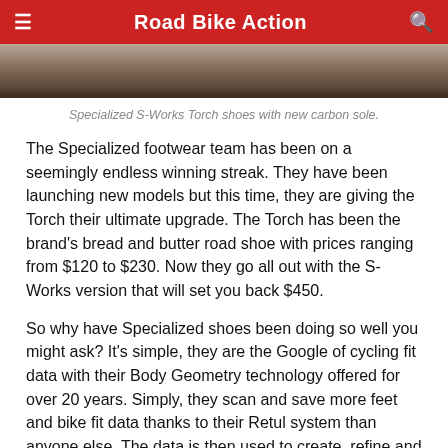Road Bike Action
[Figure (photo): Partial view of Specialized S-Works Torch shoes with new carbon sole, showing wooden background]
Specialized S-Works Torch shoes with new carbon sole.
The Specialized footwear team has been on a seemingly endless winning streak. They have been launching new models but this time, they are giving the Torch their ultimate upgrade. The Torch has been the brand's bread and butter road shoe with prices ranging from $120 to $230. Now they go all out with the S-Works version that will set you back $450.
So why have Specialized shoes been doing so well you might ask? It's simple, they are the Google of cycling fit data with their Body Geometry technology offered for over 20 years. Simply, they scan and save more feet and bike fit data thanks to their Retul system than anyone else. The data is then used to create, refine and optimize every shoe. The new S-Works Torch is no different and thanks to the data and team's knowledge, this could be their best shoe yet.